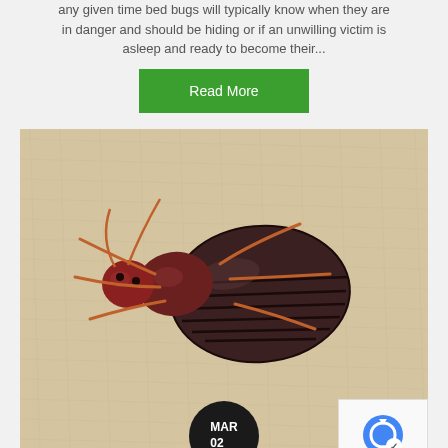any given time bed bugs will typically know when they are in danger and should be hiding or if an unwilling victim is asleep and ready to become their...
Read More
[Figure (photo): Close-up macro photograph of a bed bug (Cimex lectularius) viewed from above on a fabric surface, showing its reddish-brown head and dark segmented abdomen with legs visible]
MAR 02